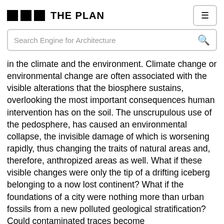THE PLAN
in the climate and the environment. Climate change or environmental change are often associated with the visible alterations that the biosphere sustains, overlooking the most important consequences human intervention has on the soil. The unscrupulous use of the pedosphere, has caused an environmental collapse, the invisible damage of which is worsening rapidly, thus changing the traits of natural areas and, therefore, anthropized areas as well. What if these visible changes were only the tip of a drifting iceberg belonging to a now lost continent? What if the foundations of a city were nothing more than urban fossils from a new polluted geological stratification? Could contaminated traces become